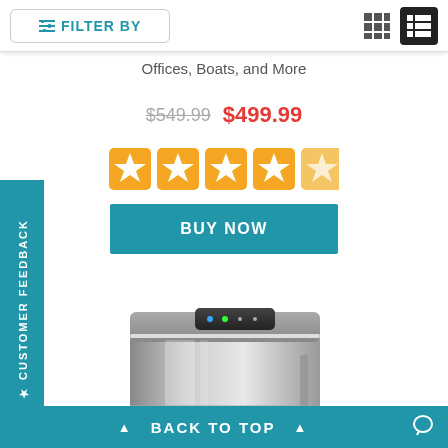FILTER BY | grid/list view icons
Offices, Boats, and More
$549.99  $499.99
[Figure (other): 5-star rating display with orange filled stars]
BUY NOW
CUSTOMER FEEDBACK
[Figure (photo): Stainless steel portable ice maker machine, countertop model with dark control panel on top]
▲  BACK TO TOP  ▲